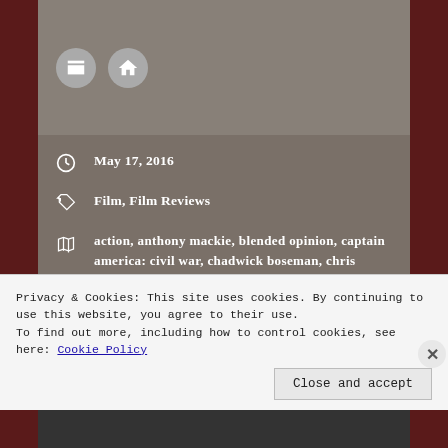May 17, 2016
Film, Film Reviews
action, anthony mackie, blended opinion, captain america: civil war, chadwick boseman, chris evans, daniel bruhl, don cheadle, elizabeth olsen, film, film review, frank grillo, jeremy renner, matt flynn, paul bettany, paul rudd, robert downey jr., scarlett johansson, sebastian stan, superhero, the russo brothers, tom holland
Privacy & Cookies: This site uses cookies. By continuing to use this website, you agree to their use.
To find out more, including how to control cookies, see here: Cookie Policy
Close and accept